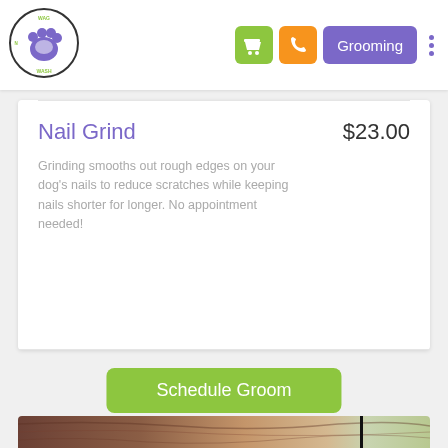[Figure (logo): Wag N Wash circular logo with purple paw print and dog silhouette]
Grooming
Nail Grind
$23.00
Grinding smooths out rough edges on your dog's nails to reduce scratches while keeping nails shorter for longer. No appointment needed!
Schedule Groom
[Figure (photo): Close-up photo of a dog being groomed]